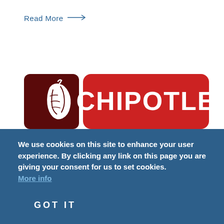Read More →
[Figure (logo): Chipotle Mexican Grill logo: dark brown rounded square with white chili pepper illustration on left, red rounded rectangle with white bold text 'CHIPOTLE' on right]
We use cookies on this site to enhance your user experience. By clicking any link on this page you are giving your consent for us to set cookies. More info
GOT IT